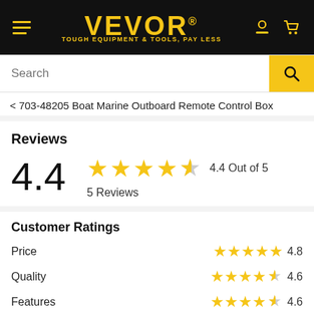VEVOR® TOUGH EQUIPMENT & TOOLS, PAY LESS
Search
< 703-48205 Boat Marine Outboard Remote Control Box
Reviews
4.4  4.4 Out of 5  5 Reviews
Customer Ratings
Price  4.8
Quality  4.6
Features  4.6